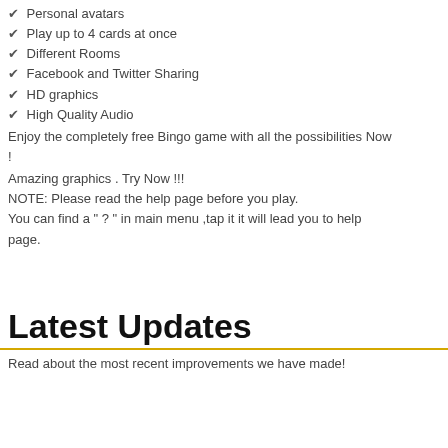✔ Personal avatars
✔ Play up to 4 cards at once
✔ Different Rooms
✔ Facebook and Twitter Sharing
✔ HD graphics
✔ High Quality Audio
Enjoy the completely free Bingo game with all the possibilities Now !
Amazing graphics . Try Now !!!
NOTE: Please read the help page before you play.
You can find a " ? " in main menu ,tap it it will lead you to help page.
Latest Updates
Read about the most recent improvements we have made!